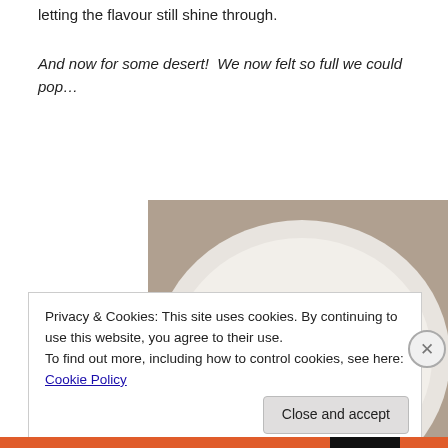letting the flavour still shine through.
And now for some desert!  We now felt so full we could pop…
[Figure (photo): A white plate with a small crème brûlée ramekin on the left and a serving of strawberries in red sauce on the right.]
Strawberry vanilla cheesecake — James introduced us to
Privacy & Cookies: This site uses cookies. By continuing to use this website, you agree to their use.
To find out more, including how to control cookies, see here: Cookie Policy